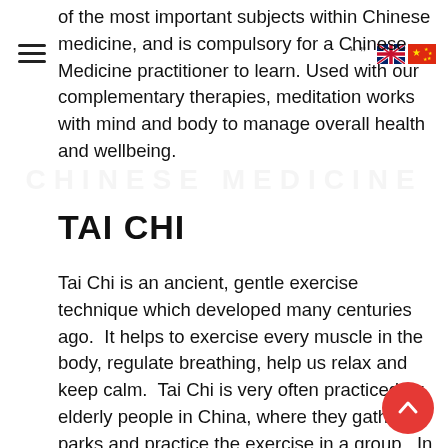of the most important subjects within Chinese medicine, and is compulsory for a Chinese Medicine practitioner to learn. Used with our complementary therapies, meditation works with mind and body to manage overall health and wellbeing.
TAI CHI
Tai Chi is an ancient, gentle exercise technique which developed many centuries ago. It helps to exercise every muscle in the body, regulate breathing, help us relax and keep calm. Tai Chi is very often practiced by elderly people in China, where they gather in parks and practice the exercise in a group. In the West, Tai Chi has recently gained popularity for young and old as a gentle form of relaxing exercise and also as a form of preventative health care. It improves